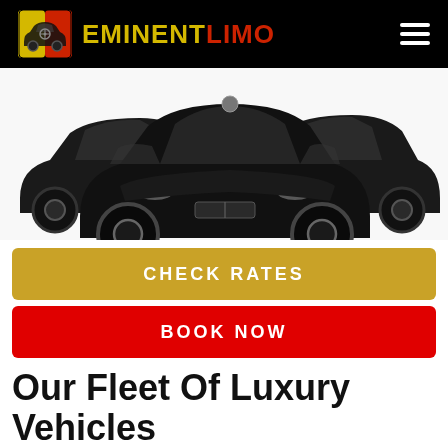EMINENT LIMO
[Figure (photo): Three black luxury sedans/limousines arranged in a display formation on a white background — one Mercedes-Benz S-Class in the center front, flanked by two other black luxury vehicles.]
CHECK RATES
BOOK NOW
Our Fleet Of Luxury Vehicles
We own and operate a fleet of high-quality luxury